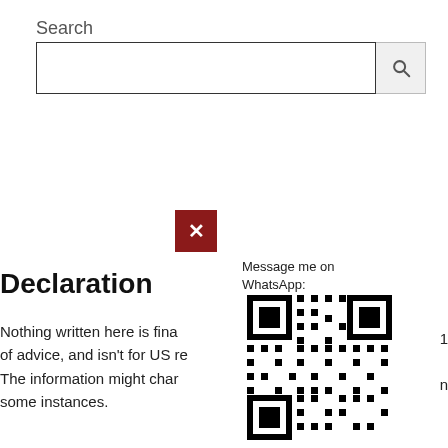Search
[Figure (screenshot): Search input box with magnifying glass button]
[Figure (other): Broken image icon — red square with white X]
Message me on WhatsApp:
[Figure (other): QR code for WhatsApp contact]
Declaration
Nothing written here is fina
of advice, and isn't for US re
The information might char
some instances.